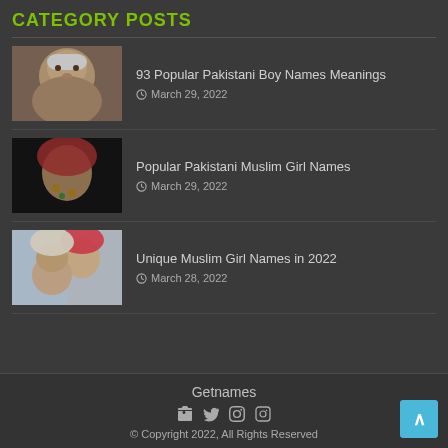CATEGORY POSTS
[Figure (photo): Baby boy in white hat, close-up portrait]
93 Popular Pakistani Boy Names Meanings
March 29, 2022
[Figure (photo): Baby girl in colorful decorated hijab with ornaments on dark background]
Popular Pakistani Muslim Girl Names
March 29, 2022
[Figure (photo): Woman and child in hijab outdoors]
Unique Muslim Girl Names in 2022
March 28, 2022
Getnames
© Copyright 2022, All Rights Reserved